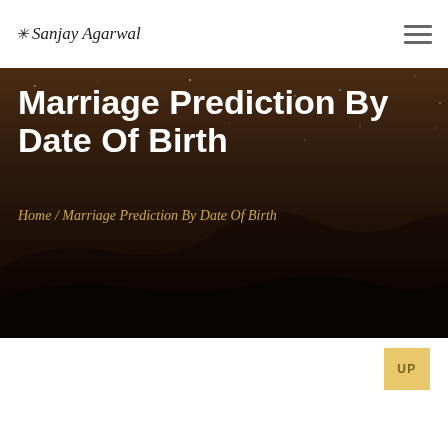Sanjay Agarwal
[Figure (photo): Hero banner with dark starry night sky and sand dune silhouette background]
Marriage Prediction By Date Of Birth
Home / Marriage Prediction By Date Of Birth
UP